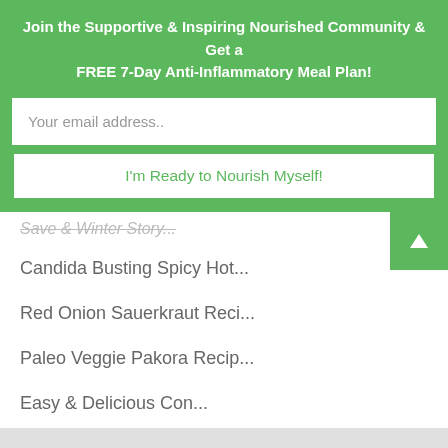Join the Supportive & Inspiring Nourished Community & Get a FREE 7-Day Anti-Inflammatory Meal Plan!
Your email address..
I'm Ready to Nourish Myself!
Save & Winter Story...
Candida Busting Spicy Hot...
Red Onion Sauerkraut Reci...
Paleo Veggie Pakora Recip...
Easy & Delicious Con...